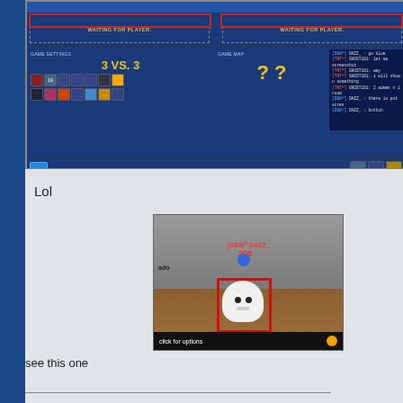[Figure (screenshot): Game lobby screenshot showing '3 VS. 3' game settings, map selection with question marks, chat panel with messages from DEW DAZZ and TNT GHOST101, waiting for player boxes, and game UI icons at bottom.]
Lol
[Figure (screenshot): In-game screenshot showing a ghost character inside a red rectangle box, a blue player character labeled [DEW2 DAZZ_] with 200 HP, text 'ado' on the left, and a 'click for options' bar with gear icon at the bottom.]
see this one